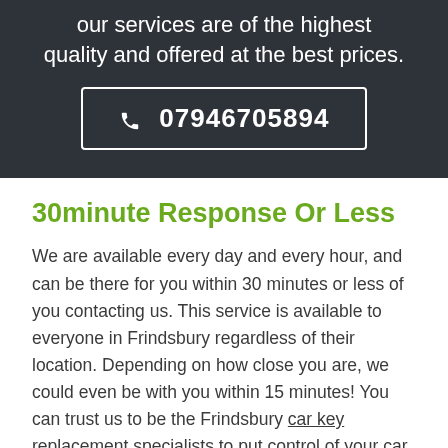our services are of the highest quality and offered at the best prices.
📞 07946705894
30minute Response Or Less
We are available every day and every hour, and can be there for you within 30 minutes or less of you contacting us. This service is available to everyone in Frindsbury regardless of their location. Depending on how close you are, we could even be with you within 15 minutes! You can trust us to be the Frindsbury car key replacement specialists to put control of your car back in your hands, fast.